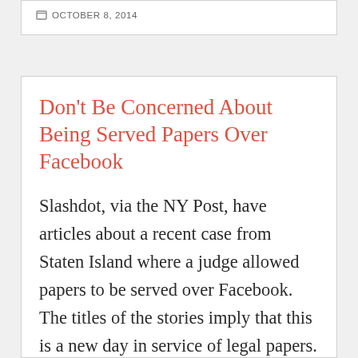OCTOBER 8, 2014
Don't Be Concerned About Being Served Papers Over Facebook
Slashdot, via the NY Post, have articles about a recent case from Staten Island where a judge allowed papers to be served over Facebook. The titles of the stories imply that this is a new day in service of legal papers. It is not. The judge in this case made an exception to the traditionally [...]